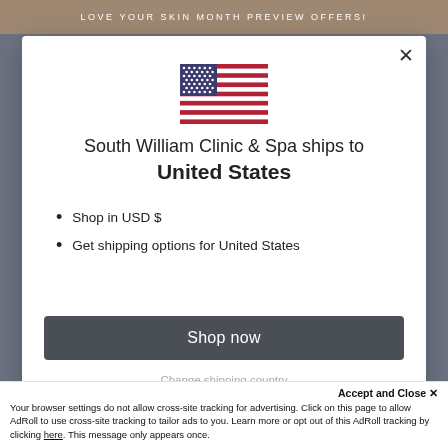LOVE YOUR SKIN MONTH PREVIEW OFFERS!
[Figure (illustration): US flag SVG illustration inside a modal popup dialog]
South William Clinic & Spa ships to United States
Shop in USD $
Get shipping options for United States
Shop now
Change shipping country
Accept and Close ✕
Your browser settings do not allow cross-site tracking for advertising. Click on this page to allow AdRoll to use cross-site tracking to tailor ads to you. Learn more or opt out of this AdRoll tracking by clicking here. This message only appears once.